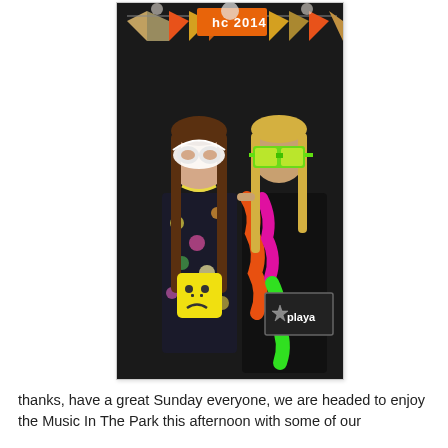[Figure (photo): Two young women posing in a photo booth at a homecoming event (hc 2014 banner visible). The left person wears a floral dress and a white masquerade mask, holding a yellow sad-face emoji sign. The right person wears large neon green sunglasses and colorful feather boas (orange, pink, green) over a black outfit, holding a sign that reads 'playa'. Background is black with a bunting banner of orange, gold, and chevron flags reading 'hc 2014'.]
thanks, have a great Sunday everyone, we are headed to enjoy the Music In The Park this afternoon with some of our